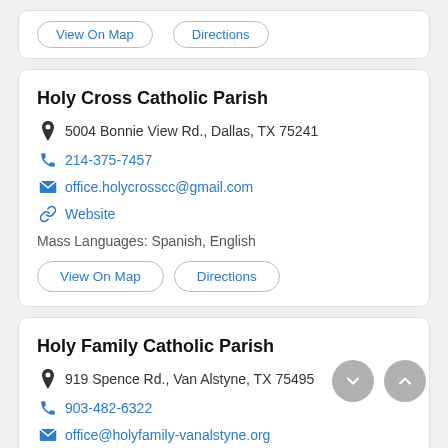View On Map | Directions (partial top card buttons)
Holy Cross Catholic Parish
5004 Bonnie View Rd., Dallas, TX 75241
214-375-7457
office.holycrosscc@gmail.com
Website
Mass Languages: Spanish, English
View On Map
Directions
Holy Family Catholic Parish
919 Spence Rd., Van Alstyne, TX 75495
903-482-6322
office@holyfamily-vanalstyne.org
Website
Mass Languages: Spanish, English